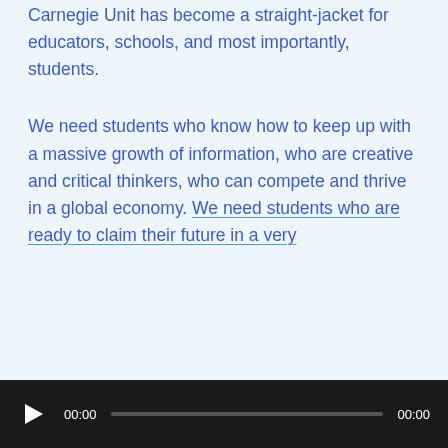Carnegie Unit has become a straight-jacket for educators, schools, and most importantly, students.
We need students who know how to keep up with a massive growth of information, who are creative and critical thinkers, who can compete and thrive in a global economy. We need students who are ready to claim their future in a very
[Figure (other): Audio player control bar with play button, time display showing 00:00, progress bar, and end time 00:00 on dark background]